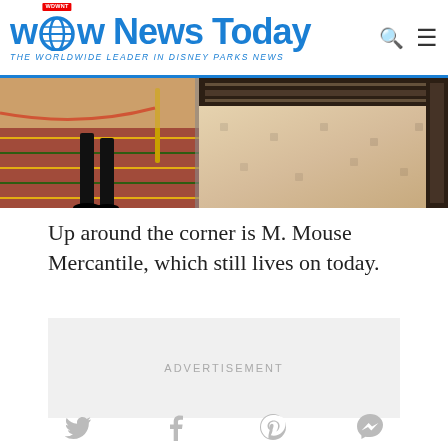WDW News Today – THE WORLDWIDE LEADER IN DISNEY PARKS NEWS
[Figure (photo): Interior hotel lobby photo showing a person's legs in black pants and shoes on a colorful carpet near a rope post on the left, and a marble floor with dark border pattern on the right.]
Up around the corner is M. Mouse Mercantile, which still lives on today.
ADVERTISEMENT
Social share icons: Twitter, Facebook, Pinterest, Messenger